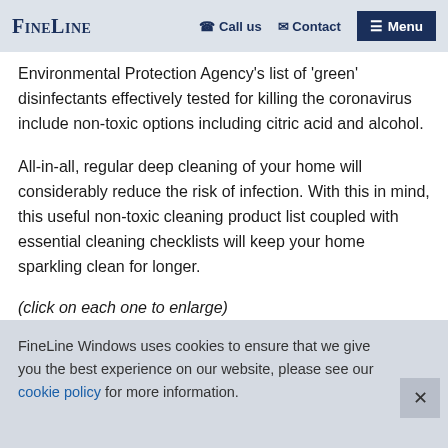FINELINE | Call us | Contact | Menu
Environmental Protection Agency's list of 'green' disinfectants effectively tested for killing the coronavirus include non-toxic options including citric acid and alcohol.
All-in-all, regular deep cleaning of your home will considerably reduce the risk of infection. With this in mind, this useful non-toxic cleaning product list coupled with essential cleaning checklists will keep your home sparkling clean for longer.
(click on each one to enlarge)
FineLine Windows uses cookies to ensure that we give you the best experience on our website, please see our cookie policy for more information.